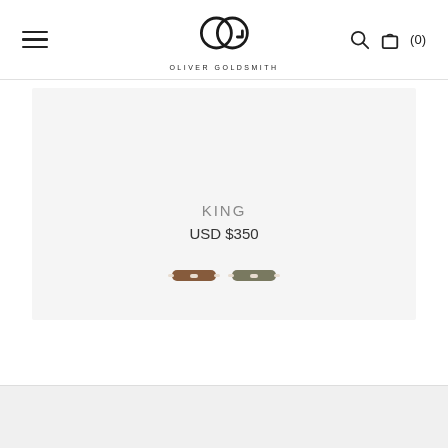Oliver Goldsmith – navigation bar with hamburger menu, logo, search and cart (0)
[Figure (photo): Product card showing two miniature swatch images of KING eyeglasses frames in two colorways (brown tortoise and olive/grey), with product name KING and price USD $350]
KING
USD $350